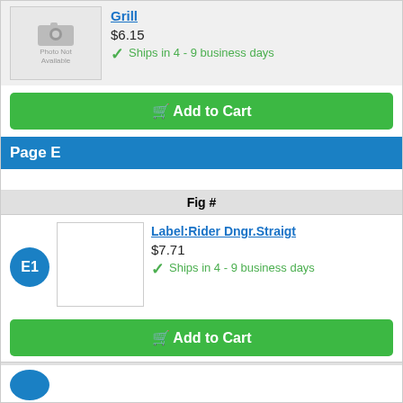Grill
$6.15
Ships in 4 - 9 business days
Add to Cart
Page E
Fig #
E1
Label:Rider Dngr.Straigt
$7.71
Ships in 4 - 9 business days
Add to Cart